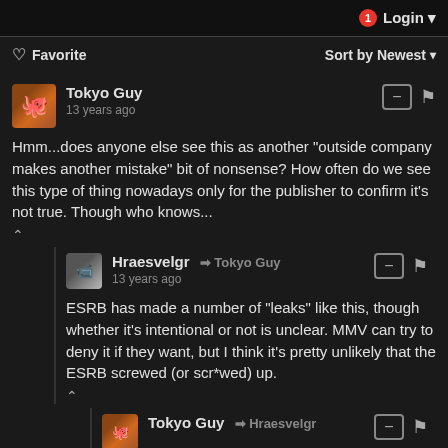1 Login
♡ Favorite   Sort by Newest
Tokyo Guy
13 years ago
Hmm...does anyone else see this as another "outside company makes another mistake" bit of nonsense? How often do we see this type of thing nowadays only for the publisher to confirm it's not true. Though who knows...
Hraesvelgr → Tokyo Guy
13 years ago
ESRB has made a number of "leaks" like this, though whether it's intentional or not is unclear. MMV can try to deny it if they want, but I think it's pretty unlikely that the ESRB screwed (or scr*wed) up.
Tokyo Guy → Hraesvelgr